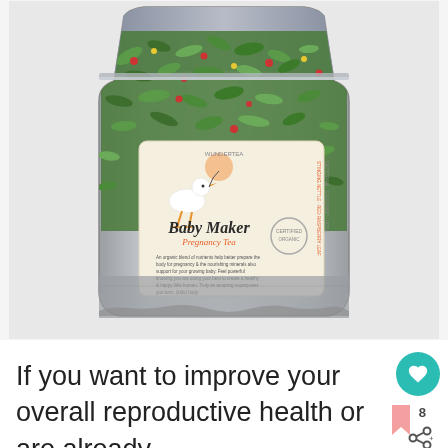[Figure (photo): Product photo of 'Baby Maker Pregnancy Tea' - a silver/metallic stand-up pouch filled with green herbal tea blend, with a label featuring a stork illustration carrying a baby bundle and the product name 'Baby Maker Pregnancy Tea' in stylized text, along with ingredients and description text on the label.]
If you want to improve your overall reproductive health or are already